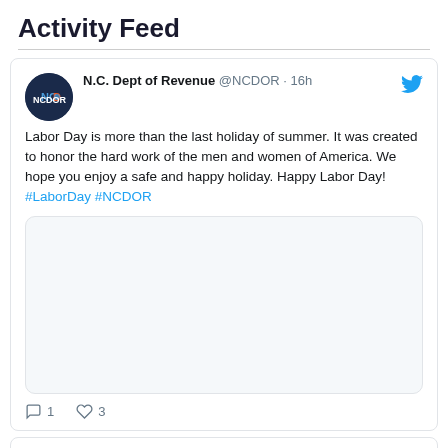Activity Feed
N.C. Dept of Revenue @NCDOR · 16h
Labor Day is more than the last holiday of summer. It was created to honor the hard work of the men and women of America. We hope you enjoy a safe and happy holiday. Happy Labor Day! #LaborDay #NCDOR
[Figure (photo): Embedded tweet image placeholder (white/light gray rounded rectangle)]
1   3